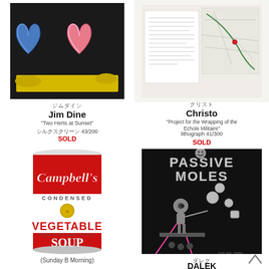[Figure (illustration): Jim Dine - Two Hearts at Sunset artwork showing two hearts (blue and pink) on a dark background with yellow brushstrokes]
ジムダイン
Jim Dine
"Two Herts at Sunset"
シルクスクリーン 43/200
SOLD
[Figure (illustration): Christo - Project for the Wrapping of the Echole Militaire - lithograph showing a map and text document]
クリスト
Christo
"Project for the Wrapping of the Echole Militaire"
lithograph 41/300
SOLD
[Figure (illustration): Andy Warhol - Campbell's Condensed Vegetable Soup can print (Sunday B Morning)]
(Sunday B Morning)
[Figure (illustration): DALEK - Passive Moles artwork showing cartoon character on black background with pink laser beams and floating geometric shapes, text reading PASSIVE MOLES]
ダレク
DALEK